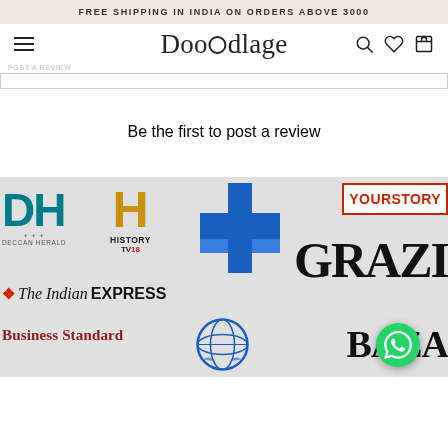FREE SHIPPING IN INDIA ON ORDERS ABOVE 3000
[Figure (logo): Doodlage brand logo with hamburger menu, search, wishlist and cart icons]
POST A REVIEW
Be the first to post a review
[Figure (infographic): Media logos collage including Deccan Herald (DH), History TV18, IT logo, YourStory, Grazia, The Indian Express, Business Standard, UN logo, Bazaar]